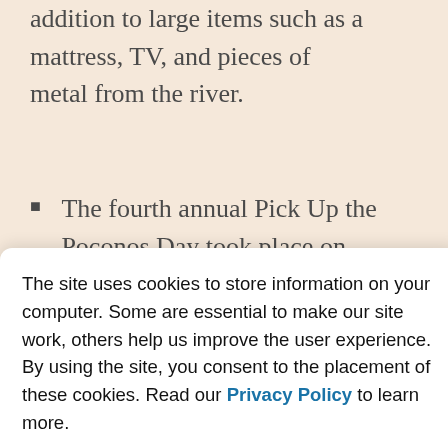addition to large items such as a mattress, TV, and pieces of metal from the river.
The fourth annual Pick Up the Poconos Day took place on September 25, 2021 with nearly 300 volunteers who filled at least 894 bags of litter, covering 36...
The site uses cookies to store information on your computer. Some are essential to make our site work, others help us improve the user experience. By using the site, you consent to the placement of these cookies. Read our Privacy Policy to learn more.
Accept & Dismiss
Poconos Spring Cleanup in honor of